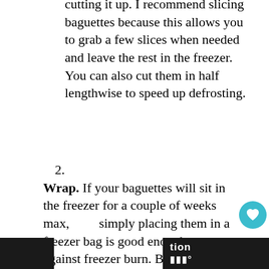cutting it up. I recommend slicing baguettes because this allows you to grab a few slices when needed and leave the rest in the freezer. You can also cut them in half lengthwise to speed up defrosting.
2. Wrap. If your baguettes will sit in the freezer for a couple of weeks max, simply placing them in a freezer bag is good enough to protect against freezer burn. But if you're expecting that they might stay there for even a couple of